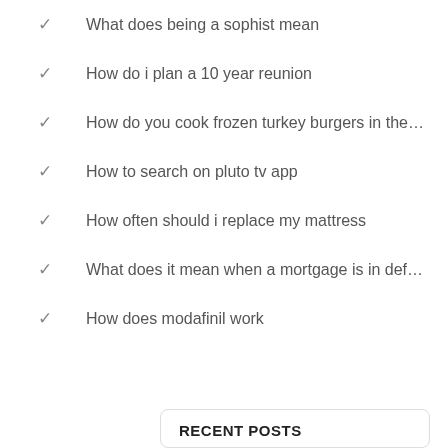What does being a sophist mean
How do i plan a 10 year reunion
How do you cook frozen turkey burgers in the…
How to search on pluto tv app
How often should i replace my mattress
What does it mean when a mortgage is in def…
How does modafinil work
RECENT POSTS